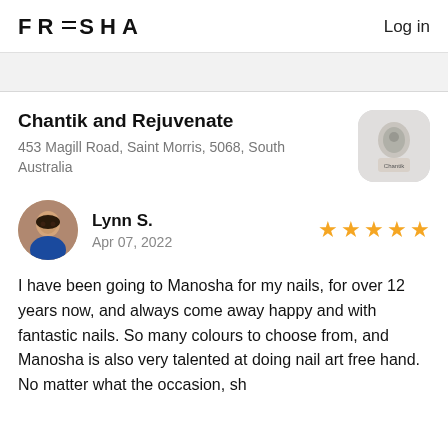FRESHA  Log in
Chantik and Rejuvenate
453 Magill Road, Saint Morris, 5068, South Australia
[Figure (logo): Chantik and Rejuvenate business logo, rounded square with product image]
Lynn S.  Apr 07, 2022  ★★★★★
[Figure (photo): Circular profile photo of reviewer Lynn S., woman in blue dress]
I have been going to Manosha for my nails, for over 12 years now, and always come away happy and with fantastic nails. So many colours to choose from, and Manosha is also very talented at doing nail art free hand. No matter what the occasion, sh